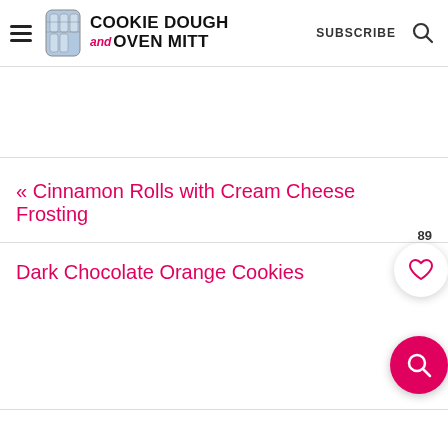Cookie Dough and Oven Mitt — SUBSCRIBE
« Cinnamon Rolls with Cream Cheese Frosting
Dark Chocolate Orange Cookies